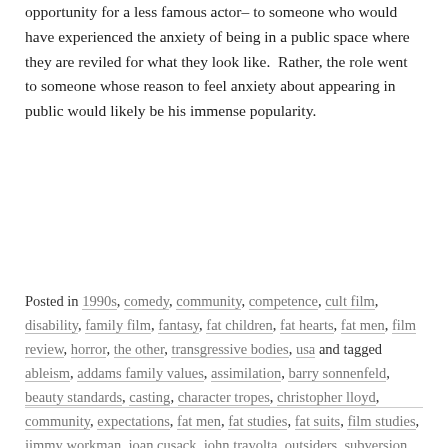opportunity for a less famous actor– to someone who would have experienced the anxiety of being in a public space where they are reviled for what they look like.  Rather, the role went to someone whose reason to feel anxiety about appearing in public would likely be his immense popularity.
Posted in 1990s, comedy, community, competence, cult film, disability, family film, fantasy, fat children, fat hearts, fat men, film review, horror, the other, transgressive bodies, usa and tagged ableism, addams family values, assimilation, barry sonnenfeld, beauty standards, casting, character tropes, christopher lloyd, community, expectations, fat men, fat studies, fat suits, film studies, jimmy workman, joan cusack, john travolta, outsiders, subversion, the addams family, the grotesque, the other, uncle fester on December 4, 2015. Leave a comment